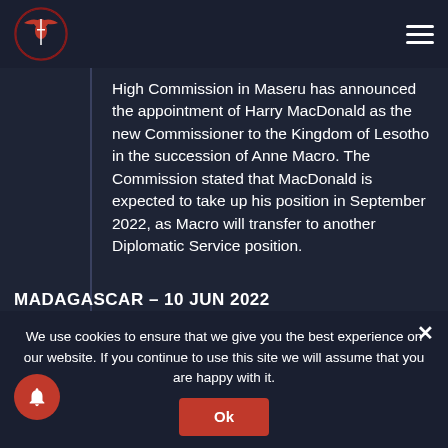[Figure (logo): Red bird/eagle logo with sword, circular badge, website logo top left]
High Commission in Maseru has announced the appointment of Harry MacDonald as the new Commissioner to the Kingdom of Lesotho in the succession of Anne Macro. The Commission stated that MacDonald is expected to take up his position in September 2022, as Macro will transfer to another Diplomatic Service position.
MADAGASCAR – 10 JUN 2022
MADAGASCAR – 10 JUN 2022 (A/29) Th...
We use cookies to ensure that we give you the best experience on our website. If you continue to use this site we will assume that you are happy with it.